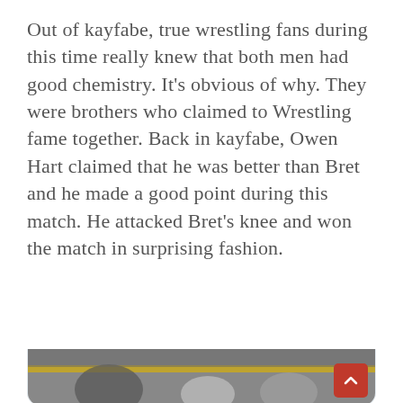Out of kayfabe, true wrestling fans during this time really knew that both men had good chemistry. It's obvious of why. They were brothers who claimed to Wrestling fame together. Back in kayfabe, Owen Hart claimed that he was better than Bret and he made a good point during this match. He attacked Bret's knee and won the match in surprising fashion.
[Figure (screenshot): Embedded tweet from @wrestleview (Wrestleview.com) with Twitter bird icon, saying '#ThrowbackThursday to #WWE #Wrestlemania X, Bret Hart vs. Owen Hart! What a match!' with a partially visible wrestling photo at the bottom.]